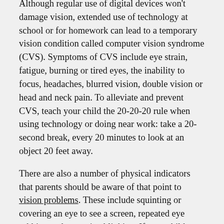Although regular use of digital devices won't damage vision, extended use of technology at school or for homework can lead to a temporary vision condition called computer vision syndrome (CVS). Symptoms of CVS include eye strain, fatigue, burning or tired eyes, the inability to focus, headaches, blurred vision, double vision or head and neck pain. To alleviate and prevent CVS, teach your child the 20-20-20 rule when using technology or doing near work: take a 20-second break, every 20 minutes to look at an object 20 feet away.
There are also a number of physical indicators that parents should be aware of that point to vision problems. These include squinting or covering an eye to see a screen, repeated eye rubbing and excessive blinking. If your child complains of headaches or swimming words on a screen, consistently performs below his or her potential and has challenges completing homework, it is important to schedule a comprehensive eye exam to assess whether there may be any vision problems.
In addition, your child should hold any digital device a half to a